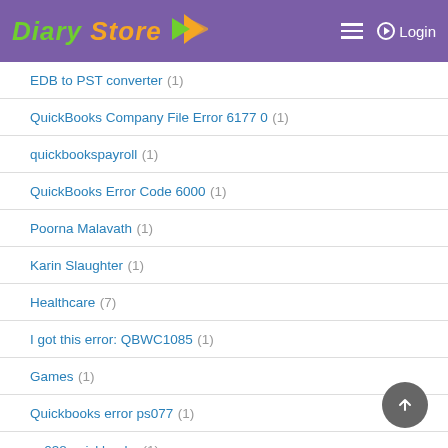Diary Store — Login
EDB to PST converter (1)
QuickBooks Company File Error 6177 0 (1)
quickbookspayroll (1)
QuickBooks Error Code 6000 (1)
Poorna Malavath (1)
Karin Slaughter (1)
Healthcare (7)
I got this error: QBWC1085 (1)
Games (1)
Quickbooks error ps077 (1)
ps038 quickbooks (1)
I just received QBWC1085 Error on Windows 7 (1)